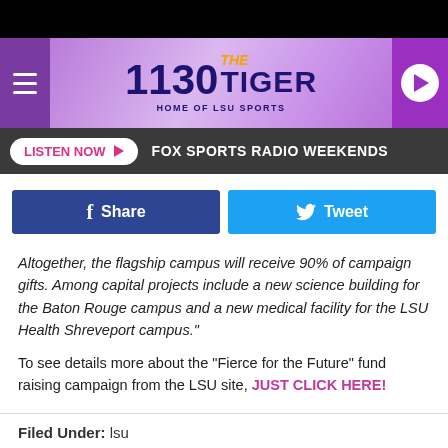[Figure (logo): 1130 The Tiger – Home of LSU Sports radio station logo banner with hamburger menu and play button]
LISTEN NOW ▶  FOX SPORTS RADIO WEEKENDS
[Figure (infographic): Facebook Share button and Twitter Tweet button social sharing row]
Altogether, the flagship campus will receive 90% of campaign gifts. Among capital projects include a new science building for the Baton Rouge campus and a new medical facility for the LSU Health Shreveport campus."
To see details more about the "Fierce for the Future" fund raising campaign from the LSU site, JUST CLICK HERE!
Filed Under: lsu